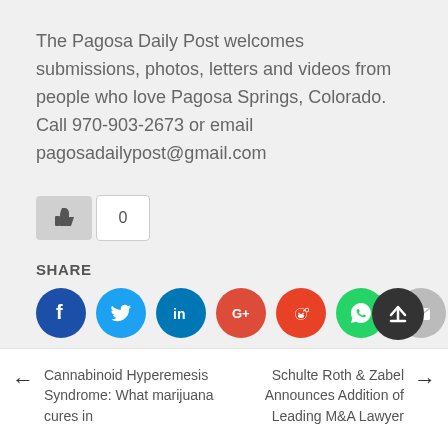The Pagosa Daily Post welcomes submissions, photos, letters and videos from people who love Pagosa Springs, Colorado. Call 970-903-2673 or email pagosadailypost@gmail.com
[Figure (infographic): Like button with thumbs up icon and count of 0]
SHARE
[Figure (infographic): Social share icons: Facebook (dark blue), Twitter (light blue), LinkedIn (blue), Google+ (red), Reddit (orange-red), WhatsApp (green), Email (gray)]
Posted in News
← Cannabinoid Hyperemesis Syndrome: What marijuana cures in
Schulte Roth & Zabel Announces Addition of Leading M&A Lawyer →